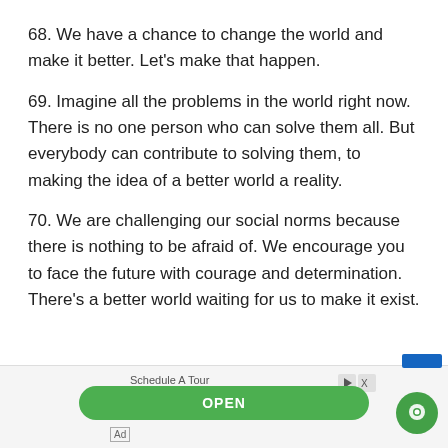68. We have a chance to change the world and make it better. Let's make that happen.
69. Imagine all the problems in the world right now. There is no one person who can solve them all. But everybody can contribute to solving them, to making the idea of a better world a reality.
70. We are challenging our social norms because there is nothing to be afraid of. We encourage you to face the future with courage and determination. There's a better world waiting for us to make it exist.
[Figure (infographic): Advertisement bar at the bottom with 'Schedule A Tour' text, a green OPEN button, DX icon, blue bar, and a green chat bubble icon. An 'Ad' label is shown at the bottom left.]